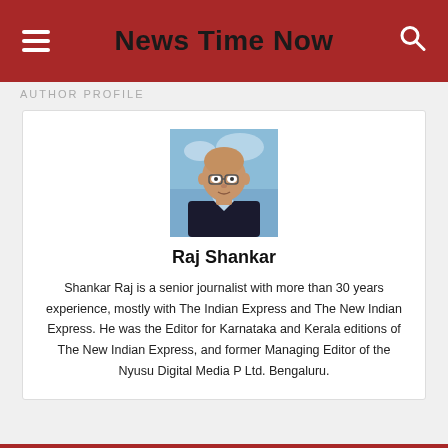News Time Now
AUTHOR PROFILE
[Figure (photo): Portrait photo of Raj Shankar, a bald man with glasses wearing a dark suit, against a blue background]
Raj Shankar
Shankar Raj is a senior journalist with more than 30 years experience, mostly with The Indian Express and The New Indian Express. He was the Editor for Karnataka and Kerala editions of The New Indian Express, and former Managing Editor of the Nyusu Digital Media P Ltd. Bengaluru.